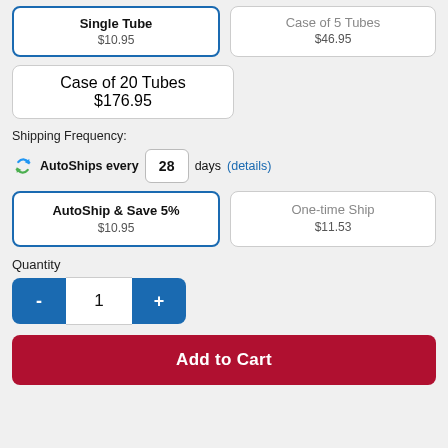Single Tube
$10.95
Case of 5 Tubes
$46.95
Case of 20 Tubes
$176.95
Shipping Frequency:
AutoShips every 28 days (details)
AutoShip & Save 5%
$10.95
One-time Ship
$11.53
Quantity
1
Add to Cart